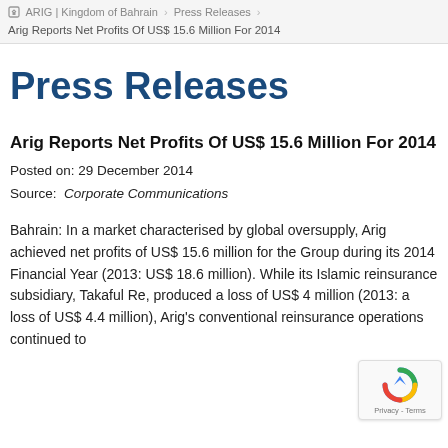ARIG | Kingdom of Bahrain > Press Releases > Arig Reports Net Profits Of US$ 15.6 Million For 2014
Press Releases
Arig Reports Net Profits Of US$ 15.6 Million For 2014
Posted on: 29 December 2014
Source: Corporate Communications
Bahrain: In a market characterised by global oversupply, Arig achieved net profits of US$ 15.6 million for the Group during its 2014 Financial Year (2013: US$ 18.6 million). While its Islamic reinsurance subsidiary, Takaful Re, produced a loss of US$ 4 million (2013: a loss of US$ 4.4 million), Arig's conventional reinsurance operations continued to